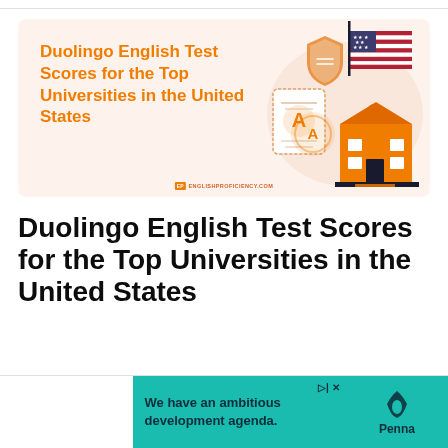[Figure (illustration): Promotional banner with orange text 'Duolingo English Test Scores for the Top Universities in the United States' on a cream/peach background, with illustrations of a school building, US flag, diploma/certificate, and a badge icon. EP englishproficiency.com watermark at the bottom center.]
Duolingo English Test Scores for the Top Universities in the United States
[Figure (infographic): Advertisement banner: teal/green background with text 'We have an ambitious development agenda.' and Penna logo with water-drop icon on the right side. Navigation arrows and close button shown at top right.]